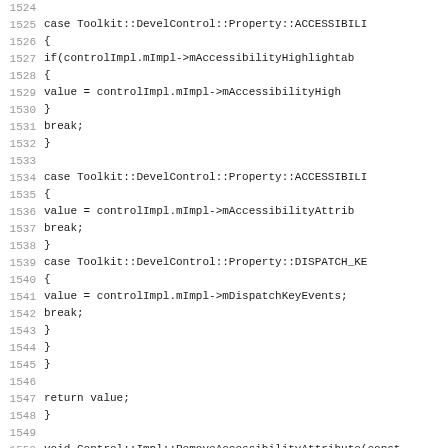Source code listing lines 1524-1555, showing C++ implementation of property accessors and RemoveAccessibilityAttribute function